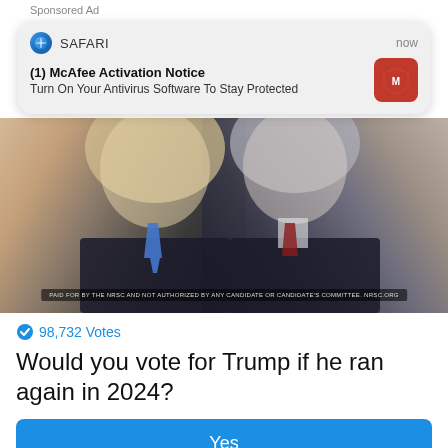Sponsored Ad
[Figure (screenshot): iOS Safari push notification from McAfee: '(1) McAfee Activation Notice - Turn On Your Antivirus Software To Stay Protected']
[Figure (photo): Photo showing two men in suits facing each other, with a legal disclaimer bar at the bottom]
98,732 Votes
Would you vote for Trump if he ran again in 2024?
Yes
No